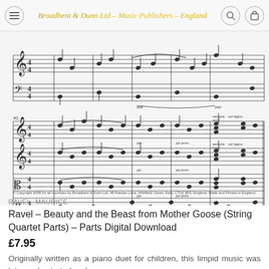Broadbent & Dunn Ltd - Music Publishers - England
[Figure (other): Sheet music excerpt showing two staves of musical notation for string quartet, multiple measures with notes, dynamics markings (pp, mf), tempo markings (sempre sord, col legno), and articulation marks.]
© Copyright 2008 for all countries by Broadbent & Dunn Ltd. 48 Nassau Lane, Whitfield, Dover, Kent, CT16 3ES, England. Made and Printed in England.
RAVEL, MAURICE
Ravel – Beauty and the Beast from Mother Goose (String Quartet Parts) – Parts Digital Download
£7.95
Originally written as a piano duet for children, this limpid music was later orchestrated and